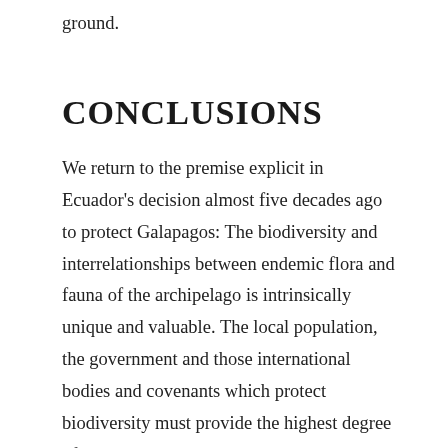ground.
CONCLUSIONS
We return to the premise explicit in Ecuador's decision almost five decades ago to protect Galapagos: The biodiversity and interrelationships between endemic flora and fauna of the archipelago is intrinsically unique and valuable. The local population, the government and those international bodies and covenants which protect biodiversity must provide the highest degree of protection possible.